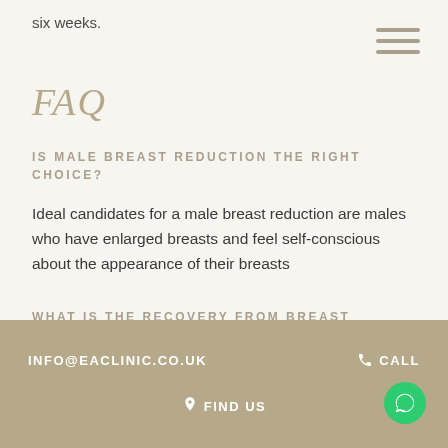six weeks.
FAQ
IS MALE BREAST REDUCTION THE RIGHT CHOICE?
Ideal candidates for a male breast reduction are males who have enlarged breasts and feel self-conscious about the appearance of their breasts
WHAT IS THE RECOVERY FROM BREAST
INFO@EACLINIC.CO.UK   CALL   FIND US